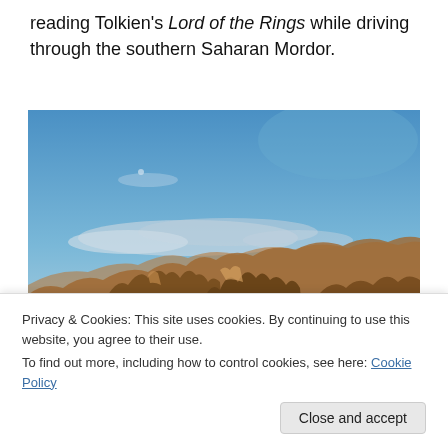reading Tolkien's Lord of the Rings while driving through the southern Saharan Mordor.
[Figure (photo): Landscape photo of a desert mountain range under a blue sky with scattered clouds, resembling the fictional land of Mordor. Rocky spires and ridges in warm brown tones, with deep shadows, fill the lower portion of the image.]
Privacy & Cookies: This site uses cookies. By continuing to use this website, you agree to their use.
To find out more, including how to control cookies, see here: Cookie Policy
Close and accept